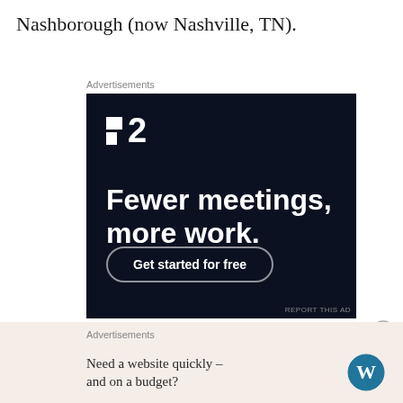Nashborough (now Nashville, TN).
[Figure (other): Advertisement banner for a project management tool (F2/Flat2) with dark background showing logo, headline 'Fewer meetings, more work.' and 'Get started for free' button]
[Figure (other): Advertisement bar for WordPress with text 'Need a website quickly – and on a budget?' and WordPress logo]